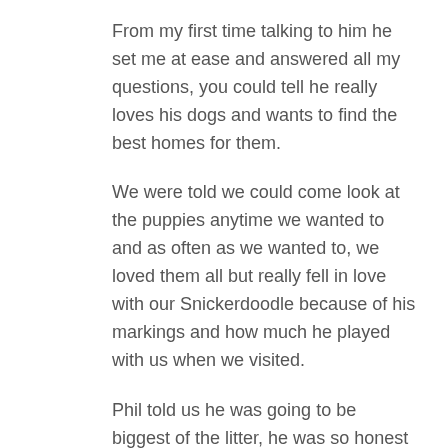From my first time talking to him he set me at ease and answered all my questions, you could tell he really loves his dogs and wants to find the best homes for them.
We were told we could come look at the puppies anytime we wanted to and as often as we wanted to, we loved them all but really fell in love with our Snickerdoodle because of his markings and how much he played with us when we visited.
Phil told us he was going to be biggest of the litter, he was so honest and trustworthy knowing we wanted a mini doodle. We still got him and can't be happier, our groomer and the puppy day care place he goes rave about how great of a dog he is. He goes to puppy daycare so he gets to socialize with other dogs and people,